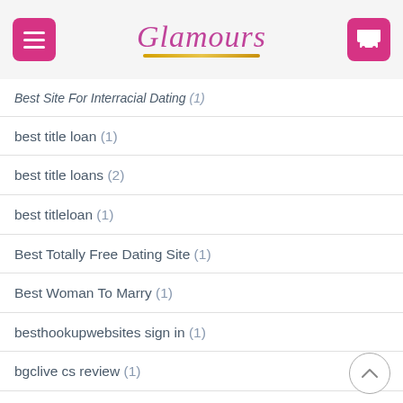Glamours
Best Site For Interracial Dating (1)
best title loan (1)
best title loans (2)
best titleloan (1)
Best Totally Free Dating Site (1)
Best Woman To Marry (1)
besthookupwebsites sign in (1)
bgclive cs review (1)
bgclive es review (1)
big payday loans (1)